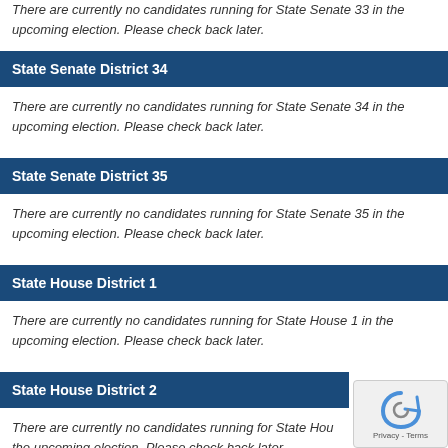There are currently no candidates running for State Senate 33 in the upcoming election. Please check back later.
State Senate District 34
There are currently no candidates running for State Senate 34 in the upcoming election. Please check back later.
State Senate District 35
There are currently no candidates running for State Senate 35 in the upcoming election. Please check back later.
State House District 1
There are currently no candidates running for State House 1 in the upcoming election. Please check back later.
State House District 2
There are currently no candidates running for State Hou... the upcoming election. Please check back later.